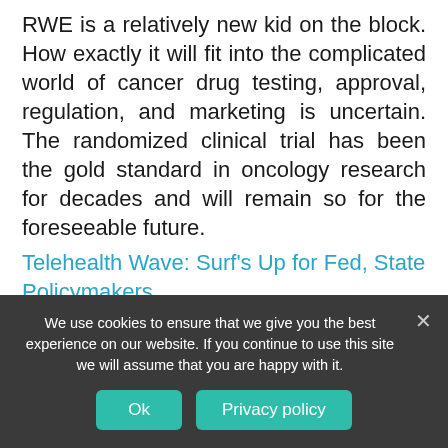RWE is a relatively new kid on the block. How exactly it will fit into the complicated world of cancer drug testing, approval, regulation, and marketing is uncertain. The randomized clinical trial has been the gold standard in oncology research for decades and will remain so for the foreseeable future.
Telehealth Wave: Surf's Up for Fed, State Policymakers
If millions of Americans lose Medicaid or private health insurance coverage because of the unACAing of American health care, telehealth may seem like a gimmicky
We use cookies to ensure that we give you the best experience on our website. If you continue to use this site we will assume that you are happy with it.